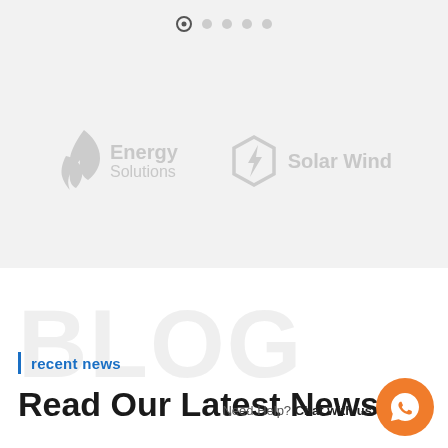[Figure (other): Carousel navigation dots — one filled/active dot followed by four empty dots]
[Figure (logo): Energy Solutions logo — flame icon with text 'Energy Solutions' in light gray]
[Figure (logo): Solar Wind logo — hexagon with lightning bolt icon and text 'Solar Wind' in light gray]
BLOG
recent news
Read Our Latest News